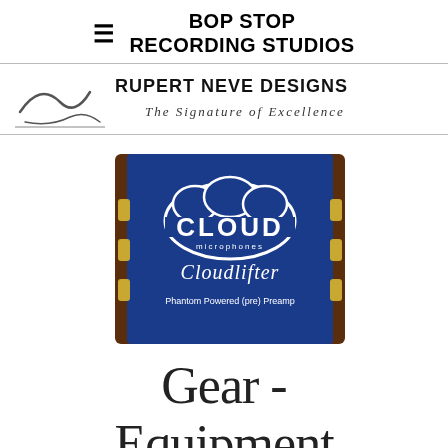BOP STOP RECORDING STUDIOS
[Figure (logo): Rupert Neve Designs banner logo with text 'RUPERT NEVE DESIGNS' and tagline 'The Signature of Excellence' with a stylized signature/checkmark graphic on a white background.]
[Figure (photo): Cloud Microphones Cloudlifter Phantom Powered (pre) Preamp device in a blue and wood enclosure with gold XLR connectors on sides. Blue top panel shows the CLOUD microphones logo with white cloud shape and 'Cloudlifter' script text and 'Phantom Powered (pre) Preamp' text.]
Gear - Equipment List